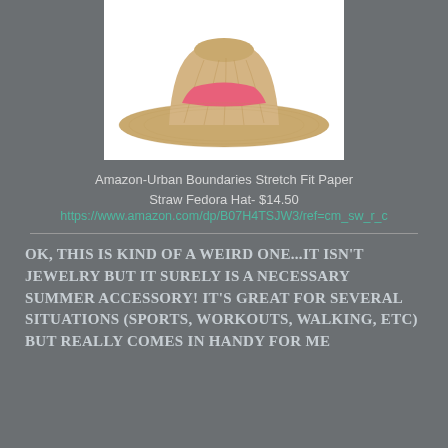[Figure (photo): A straw fedora hat with a pink/coral band, shown on white background]
Amazon-Urban Boundaries Stretch Fit Paper Straw Fedora Hat- $14.50
https://www.amazon.com/dp/B07H4TSJW3/ref=cm_sw_r_c
OK, THIS IS KIND OF A WEIRD ONE...IT ISN'T JEWELRY BUT IT SURELY IS A NECESSARY SUMMER ACCESSORY! IT'S GREAT FOR SEVERAL SITUATIONS (SPORTS, WORKOUTS, WALKING, ETC) BUT REALLY COMES IN HANDY FOR ME